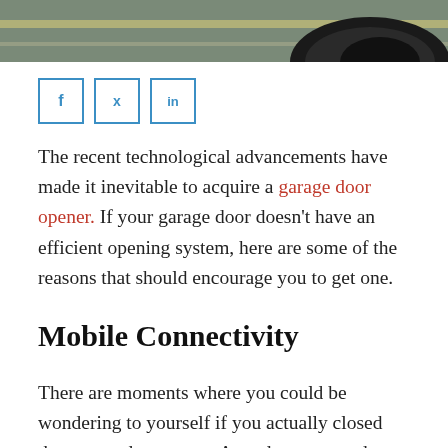[Figure (photo): Top strip showing a driveway/road scene with a car tire visible on the right side, dark grey asphalt and muted colors]
[Figure (infographic): Three social media share buttons with blue borders: Facebook (f), Twitter (bird), LinkedIn (in)]
The recent technological advancements have made it inevitable to acquire a garage door opener. If your garage door doesn't have an efficient opening system, here are some of the reasons that should encourage you to get one.
Mobile Connectivity
There are moments where you could be wondering to yourself if you actually closed the garage door or not. A modern garage door opener programmed with internet connectivity allows you to check the status of your